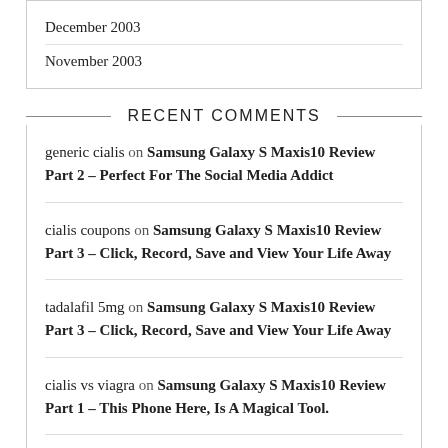December 2003
November 2003
RECENT COMMENTS
generic cialis on Samsung Galaxy S Maxis10 Review Part 2 – Perfect For The Social Media Addict
cialis coupons on Samsung Galaxy S Maxis10 Review Part 3 – Click, Record, Save and View Your Life Away
tadalafil 5mg on Samsung Galaxy S Maxis10 Review Part 3 – Click, Record, Save and View Your Life Away
cialis vs viagra on Samsung Galaxy S Maxis10 Review Part 1 – This Phone Here, Is A Magical Tool.
viagra pills on Samsung Galaxy S Maxis10 Review Part